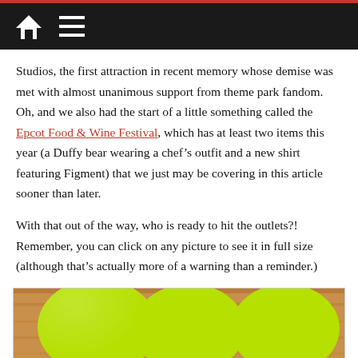[Home icon] [Menu icon]
Studios, the first attraction in recent memory whose demise was met with almost unanimous support from theme park fandom. Oh, and we also had the start of a little something called the Epcot Food & Wine Festival, which has at least two items this year (a Duffy bear wearing a chef’s outfit and a new shirt featuring Figment) that we just may be covering in this article sooner than later.
With that out of the way, who is ready to hit the outlets?! Remember, you can click on any picture to see it in full size (although that’s actually more of a warning than a reminder.)
[Figure (photo): Three bright yellow-green dome-shaped cups/containers sitting on a wooden shelf, with a blue container partially visible at the bottom.]